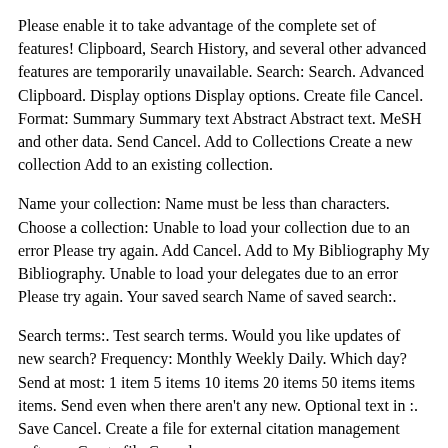Please enable it to take advantage of the complete set of features! Clipboard, Search History, and several other advanced features are temporarily unavailable. Search: Search. Advanced Clipboard. Display options Display options. Create file Cancel. Format: Summary Summary text Abstract Abstract text. MeSH and other data. Send Cancel. Add to Collections Create a new collection Add to an existing collection.
Name your collection: Name must be less than characters. Choose a collection: Unable to load your collection due to an error Please try again. Add Cancel. Add to My Bibliography My Bibliography. Unable to load your delegates due to an error Please try again. Your saved search Name of saved search:.
Search terms:. Test search terms. Would you like updates of new search? Frequency: Monthly Weekly Daily. Which day? Send at most: 1 item 5 items 10 items 20 items 50 items items items. Send even when there aren't any new. Optional text in :. Save Cancel. Create a file for external citation management software Create file Cancel.
RSS Link Copy. Full text links Cite Display options Display options. Abstract Because of the dearth of available partners, older women looking to date may have to relax their dating standards to find a dating partner, perhaps accepting a life situation that is not